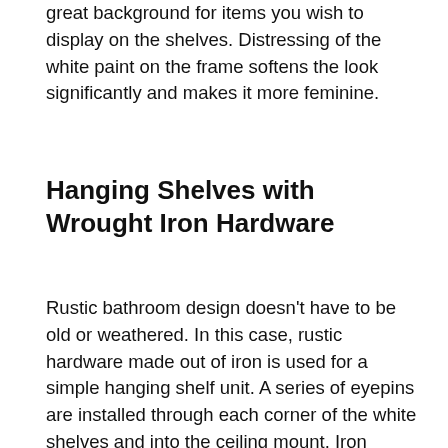great background for items you wish to display on the shelves. Distressing of the white paint on the frame softens the look significantly and makes it more feminine.
Hanging Shelves with Wrought Iron Hardware
Rustic bathroom design doesn't have to be old or weathered. In this case, rustic hardware made out of iron is used for a simple hanging shelf unit. A series of eyepins are installed through each corner of the white shelves and into the ceiling mount. Iron hooks are then used to link the shelves together and suspend them from the mount. If you are low on floor space in your bathroom or just want to try something different and slightly rustic that catches the eye, this idea is perfect for you. It is a simple and effective way to make a visual impact and solve a storage space.